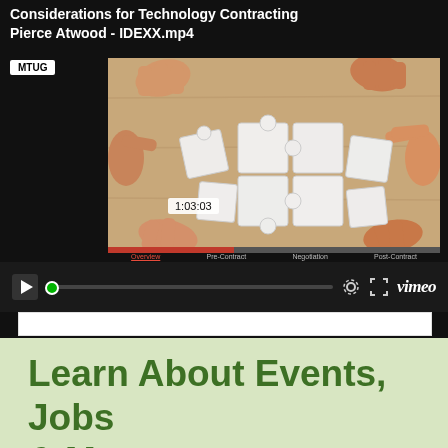Considerations for Technology Contracting Pierce Atwood - IDEXX.mp4
[Figure (screenshot): Vimeo video player showing a paused video of hands assembling puzzle pieces on a table. MTUG badge visible. Timestamp shows 1:03:03. Player controls include play button, progress bar, settings gear icon, fullscreen icon, and Vimeo logo.]
Learn About Events, Jobs & More